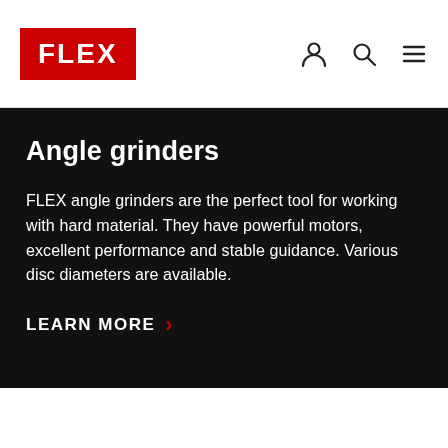FLEX
Angle grinders
FLEX angle grinders are the perfect tool for working with hard material. They have powerful motors, excellent performance and stable guidance. Various disc diameters are available.
LEARN MORE ›